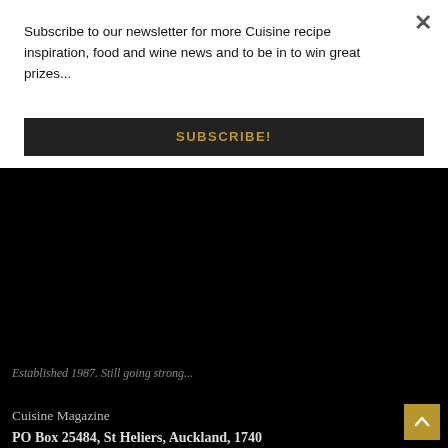Subscribe to our newsletter for more Cuisine recipe inspiration, food and wine news and to be in to win great prizes...
SUBSCRIBE!
Established 1987. Still going strong...
Cuisine Magazine
PO Box 25484, St Heliers, Auckland, 1740
ADVERTISE WITH US | CONTACT | SITE POLICIES | ABOUT | SUBSCRIBE
© 2022 Cuisine – For the love of New Zealand food. All rights reserved